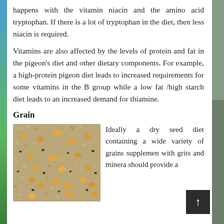happens with the vitamin niacin and the amino acid tryptophan. If there is a lot of tryptophan in the diet, then less niacin is required.
Vitamins are also affected by the levels of protein and fat in the pigeon's diet and other dietary components. For example, a high-protein pigeon diet leads to increased requirements for some vitamins in the B group while a low fat /high starch diet leads to an increased demand for thiamine.
Grain
[Figure (photo): Close-up photograph of mixed grain seeds including various sizes and colors of seeds such as millet, corn, and other grains.]
Ideally a dry seed diet containing a wide variety of grains supplemen with grits and minera should provide a